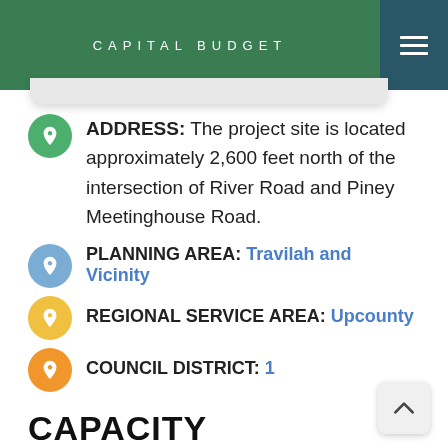CAPITAL BUDGET
ADDRESS: The project site is located approximately 2,600 feet north of the intersection of River Road and Piney Meetinghouse Road.
PLANNING AREA: Travilah and Vicinity
REGIONAL SERVICE AREA: Upcounty
COUNCIL DISTRICT: 1
CAPACITY